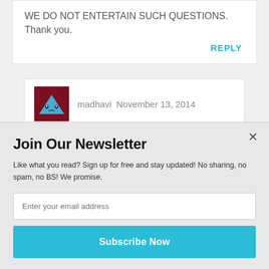WE DO NOT ENTERTAIN SUCH QUESTIONS. Thank you.
REPLY
madhavi  November 13, 2014
POWERED BY SUMO
Join Our Newsletter
Like what you read? Sign up for free and stay updated! No sharing, no spam, no BS! We promise.
Enter your email address
Subscribe Now